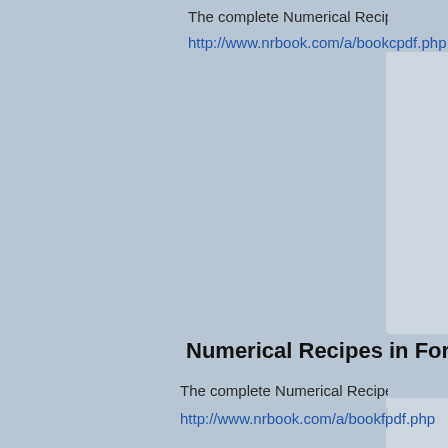The complete Numerical Recipes in C book from Cambridge Universit…
http://www.nrbook.com/a/bookcpdf.php
Numerical Recipes in Fortran 77
The complete Numerical Recipes in Fortran book from Cambridge Un…
http://www.nrbook.com/a/bookfpdf.php
Numerical Recipes in Fortran 90
Volume 2 of the Numerical Recipes in Fortran series from Cambridge…
http://www.nrbook.com/a/bookf90pdf.php